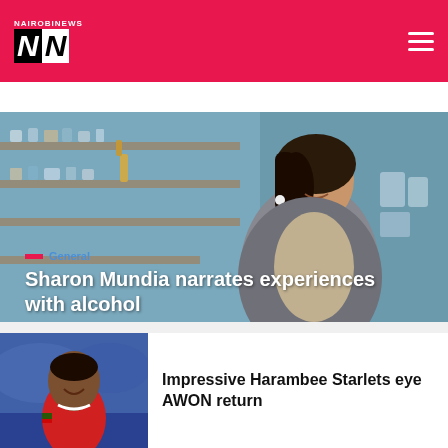Nairobi News
[Figure (photo): Woman smiling in a store with glass shelves in the background, wearing a grey outfit]
General
Sharon Mundia narrates experiences with alcohol
[Figure (photo): Young football player in red jersey smiling]
Impressive Harambee Starlets eye AWON return